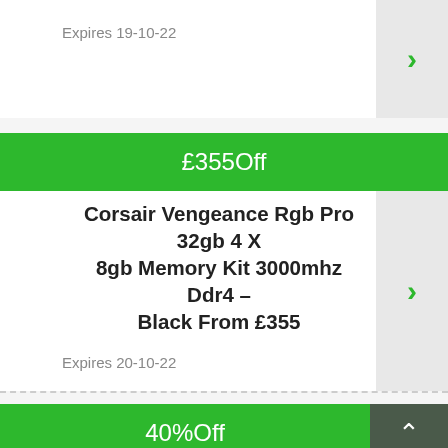Expires 19-10-22
£355Off
Corsair Vengeance Rgb Pro 32gb 4X 8gb Memory Kit 3000mhz Ddr4 – Black From £355
Expires 20-10-22
40%Off
Take Up To 40% OFF Monitors At AWD IT